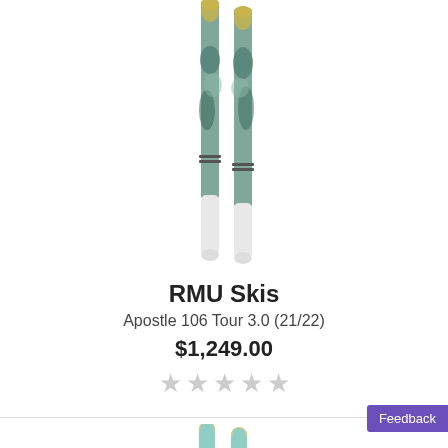[Figure (photo): Two ski planks shown vertically, featuring teal/green and yellow/gold abstract artwork on the tops and white bases. The skis are narrow touring skis with a decorative illustrated graphic.]
RMU Skis
Apostle 106 Tour 3.0 (21/22)
$1,249.00
[Figure (other): Five empty star rating icons in light gray, indicating no reviews yet.]
[Figure (photo): Partial view of a second pair of skis at the bottom of the page, light teal/mint colored with white tips, shown vertically cropped.]
Feedback